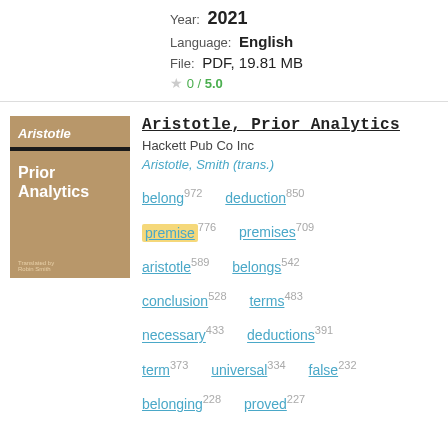Year: 2021
Language: English
File: PDF, 19.81 MB
0 / 5.0
[Figure (illustration): Book cover of Aristotle Prior Analytics with tan/brown background and black stripe]
Aristotle, Prior Analytics
Hackett Pub Co Inc
Aristotle, Smith (trans.)
belong 972  deduction 850
premise 776  premises 709
aristotle 589  belongs 542
conclusion 528  terms 483
necessary 433  deductions 391
term 373  universal 334  false 232
belonging 228  proved 227